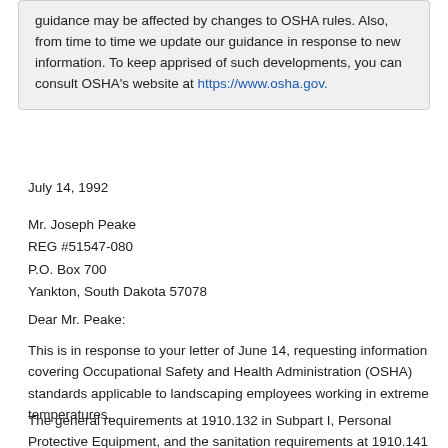guidance may be affected by changes to OSHA rules. Also, from time to time we update our guidance in response to new information. To keep apprised of such developments, you can consult OSHA's website at https://www.osha.gov.
July 14, 1992
Mr. Joseph Peake
REG #51547-080
P.O. Box 700
Yankton, South Dakota 57078
Dear Mr. Peake:
This is in response to your letter of June 14, requesting information covering Occupational Safety and Health Administration (OSHA) standards applicable to landscaping employees working in extreme temperatures.
The general requirements at 1910.132 in Subpart I, Personal Protective Equipment, and the sanitation requirements at 1910.141 in Subpart J, General Environmental Controls, contain standards which are applicable to landscaping employees working in extreme temperatures. Furthermore, as published in the Federal...